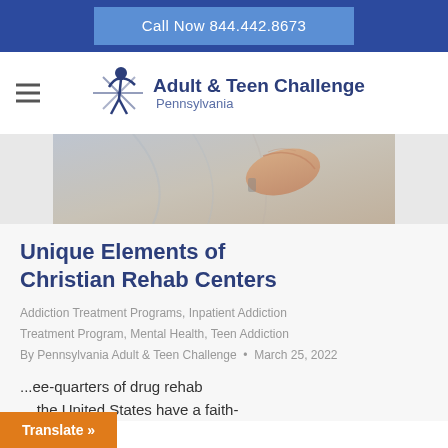Call Now 844.442.8673
[Figure (logo): Adult & Teen Challenge Pennsylvania logo with a blue star/figure icon]
[Figure (photo): Close-up photo of a hand resting on someone's back, suggesting support or comfort]
Unique Elements of Christian Rehab Centers
Addiction Treatment Programs, Inpatient Addiction Treatment Program, Mental Health, Teen Addiction
By Pennsylvania Adult & Teen Challenge • March 25, 2022
...ee-quarters of drug rehab ... the United States have a faith-